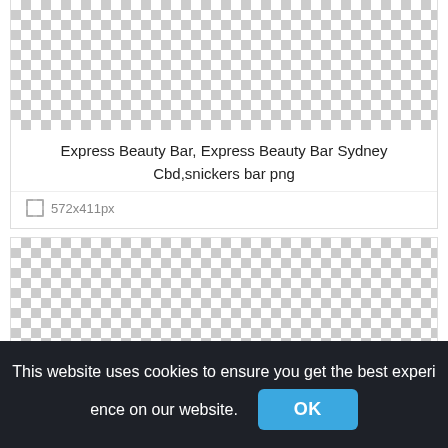[Figure (other): Checkered transparent background placeholder image area]
Express Beauty Bar, Express Beauty Bar Sydney Cbd,snickers bar png
572x411px
[Figure (other): Checkered transparent background placeholder image area (second)]
This website uses cookies to ensure you get the best experience on our website.